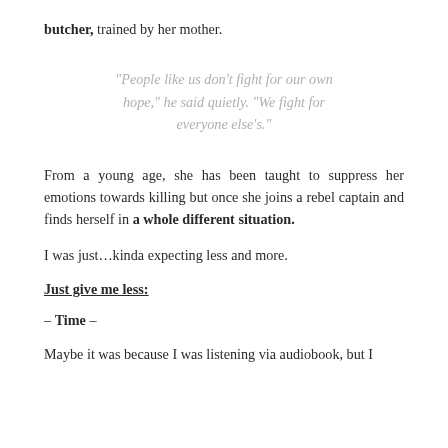butcher, trained by her mother.
“People like us don’t fight for our own hope,” he said quietly. “We fight for everyone else’s.”
From a young age, she has been taught to suppress her emotions towards killing but once she joins a rebel captain and finds herself in a whole different situation.
I was just…kinda expecting less and more.
Just give me less:
– Time –
Maybe it was because I was listening via audiobook, but I